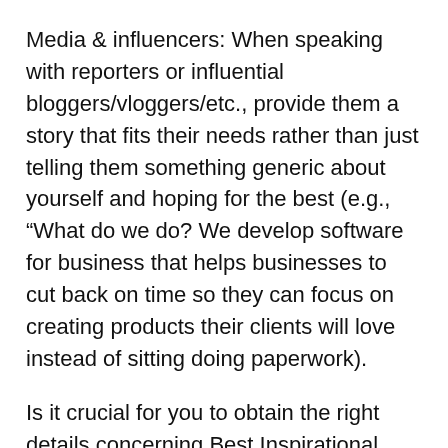Media & influencers: When speaking with reporters or influential bloggers/vloggers/etc., provide them a story that fits their needs rather than just telling them something generic about yourself and hoping for the best (e.g., “What do we do? We develop software for business that helps businesses to cut back on time so they can focus on creating products their clients will love instead of sitting doing paperwork).
Is it crucial for you to obtain the right details concerning Best Inspirational Stories Overcoming Fear ?
Make use of stories to motivate people